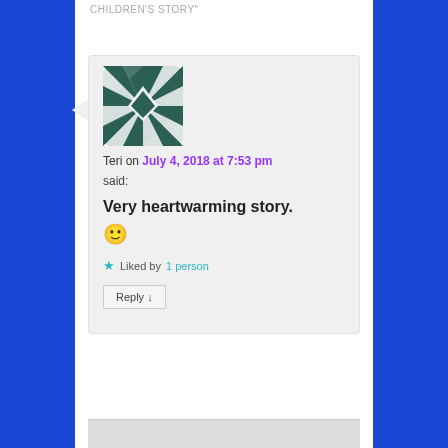CHILDREN'S STORY
[Figure (illustration): Geometric avatar: dark teal square with white geometric star/diamond pattern]
Teri on July 4, 2018 at 7:53 pm said:
Very heartwarming story. 🙂
★ Liked by 1 person
Reply ↓